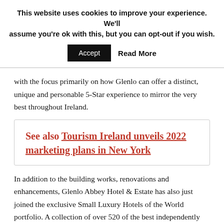This website uses cookies to improve your experience. We'll assume you're ok with this, but you can opt-out if you wish.
Accept  Read More
with the focus primarily on how Glenlo can offer a distinct, unique and personable 5-Star experience to mirror the very best throughout Ireland.
See also  Tourism Ireland unveils 2022 marketing plans in New York
In addition to the building works, renovations and enhancements, Glenlo Abbey Hotel & Estate has also just joined the exclusive Small Luxury Hotels of the World portfolio. A collection of over 520 of the best independently spirited hotels in the world, offering truly unique experiences and highest standards of luxury and guest well being to their guests.